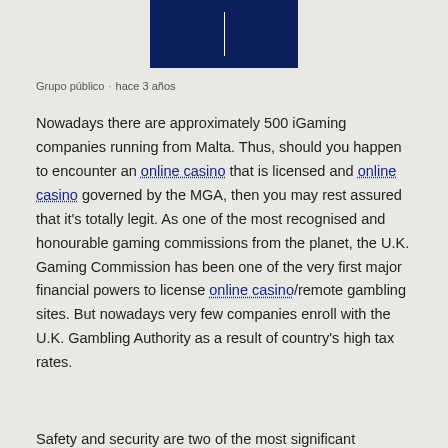[Figure (logo): Dark navy blue rectangle logo with a vertical white line in the center]
Grupo público  ·  hace 3 años
Nowadays there are approximately 500 iGaming companies running from Malta. Thus, should you happen to encounter an online casino that is licensed and online casino governed by the MGA, then you may rest assured that it's totally legit. As one of the most recognised and honourable gaming commissions from the planet, the U.K. Gaming Commission has been one of the very first major financial powers to license online casino/remote gambling sites. But nowadays very few companies enroll with the U.K. Gambling Authority as a result of country's high tax rates.
Safety and security are two of the most significant